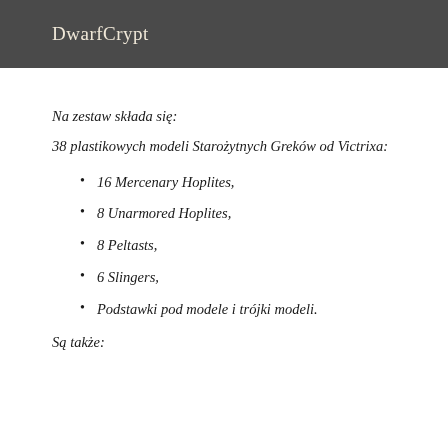DwarfCrypt
Na zestaw składa się:
38 plastikowych modeli Starożytnych Greków od Victrixa:
16 Mercenary Hoplites,
8 Unarmored Hoplites,
8 Peltasts,
6 Slingers,
Podstawki pod modele i trójki modeli.
Są także: